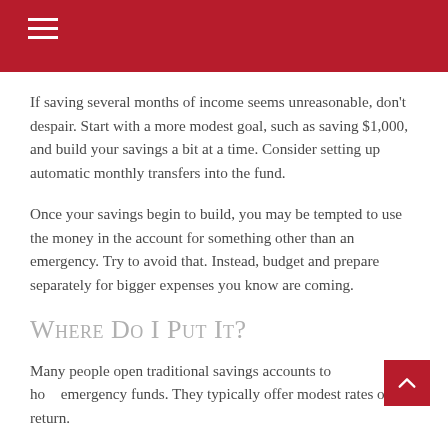navigation menu header bar
If saving several months of income seems unreasonable, don't despair. Start with a more modest goal, such as saving $1,000, and build your savings a bit at a time. Consider setting up automatic monthly transfers into the fund.
Once your savings begin to build, you may be tempted to use the money in the account for something other than an emergency. Try to avoid that. Instead, budget and prepare separately for bigger expenses you know are coming.
Where Do I Put It?
Many people open traditional savings accounts to hold emergency funds. They typically offer modest rates of return.